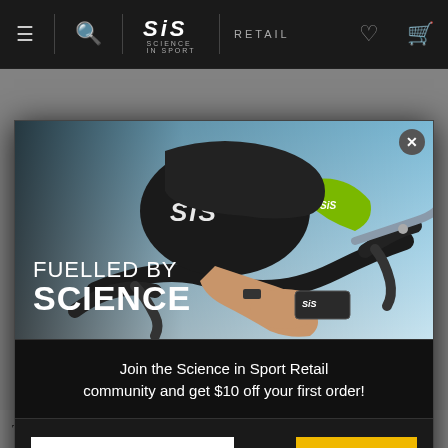[Figure (screenshot): Science in Sport (SiS) retail website navigation bar with hamburger menu, search icon, SiS logo, RETAIL label, heart icon, and cart icon on dark background.]
[Figure (photo): Close-up photo of a cyclist gripping handlebars wearing a SiS jersey and eating a SiS energy bar. Text overlay reads 'FUELLED BY SCIENCE'.]
Join the Science in Sport Retail community and get $10 off your first order!
Your email
LET'S GO
The goal of the pre-game meal is to top-up carbohydrate